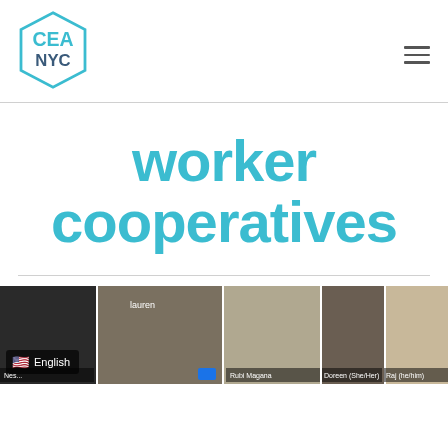[Figure (logo): CEA NYC hexagon logo in teal/blue outline with 'CEA' in teal and 'NYC' in dark blue text inside a hexagon shape]
worker cooperatives
[Figure (screenshot): Screenshot of a video conference call showing multiple participants including labels: 'lauren', 'Rubi Magana', 'Doreen (She/Her)', 'Raj (he/him)', with an English language badge overlay showing US flag]